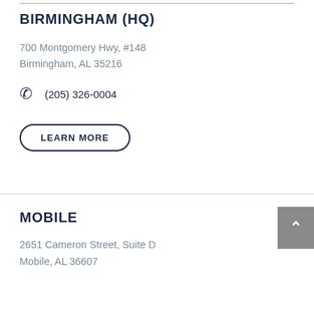BIRMINGHAM (HQ)
700 Montgomery Hwy, #148
Birmingham, AL 35216
(205) 326-0004
LEARN MORE
MOBILE
2651 Cameron Street, Suite D
Mobile, AL 36607